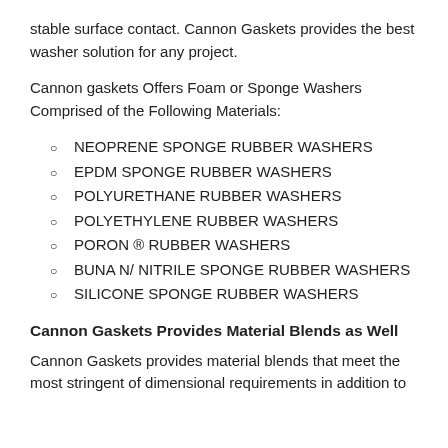stable surface contact. Cannon Gaskets provides the best washer solution for any project.
Cannon gaskets Offers Foam or Sponge Washers Comprised of the Following Materials:
NEOPRENE SPONGE RUBBER WASHERS
EPDM SPONGE RUBBER WASHERS
POLYURETHANE RUBBER WASHERS
POLYETHYLENE RUBBER WASHERS
PORON ® RUBBER WASHERS
BUNA N/ NITRILE SPONGE RUBBER WASHERS
SILICONE SPONGE RUBBER WASHERS
Cannon Gaskets Provides Material Blends as Well
Cannon Gaskets provides material blends that meet the most stringent of dimensional requirements in addition to